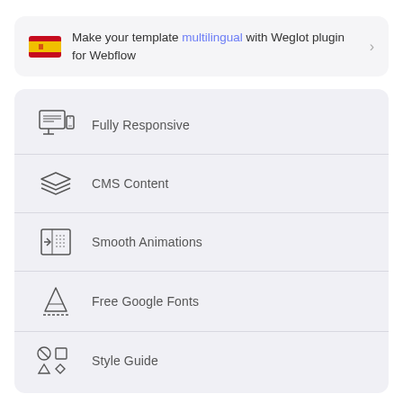Make your template multilingual with Weglot plugin for Webflow
Fully Responsive
CMS Content
Smooth Animations
Free Google Fonts
Style Guide